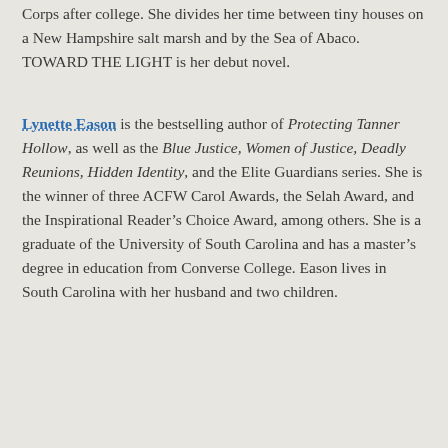Corps after college. She divides her time between tiny houses on a New Hampshire salt marsh and by the Sea of Abaco. TOWARD THE LIGHT is her debut novel.
Lynette Eason is the bestselling author of Protecting Tanner Hollow, as well as the Blue Justice, Women of Justice, Deadly Reunions, Hidden Identity, and the Elite Guardians series. She is the winner of three ACFW Carol Awards, the Selah Award, and the Inspirational Reader’s Choice Award, among others. She is a graduate of the University of South Carolina and has a master’s degree in education from Converse College. Eason lives in South Carolina with her husband and two children.